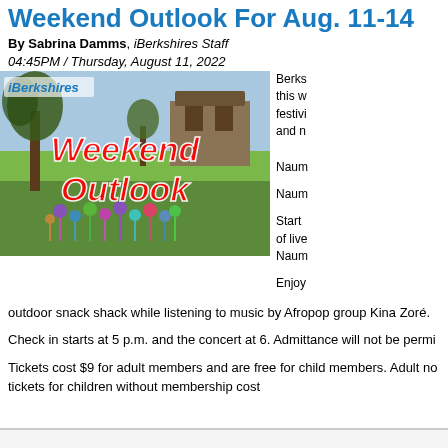Weekend Outlook For Aug. 11-14
By Sabrina Damms, iBerkshires Staff
04:45PM / Thursday, August 11, 2022
[Figure (photo): Photo of pinwheels in a garden with trees and a stone building in the background, overlaid with red italic bold text reading 'Weekend Outlook' and the iBerkshires logo in the top left.]
Berks this w festivi and n
Naum
Naum
Start of live Naum
Enjoy outdoor snack shack while listening to music by Afropop group Kina Zoré.
Check in starts at 5 p.m. and the concert at 6. Admittance will not be permi
Tickets cost $9 for adult members and are free for child members. Adult no tickets for children without membership cost